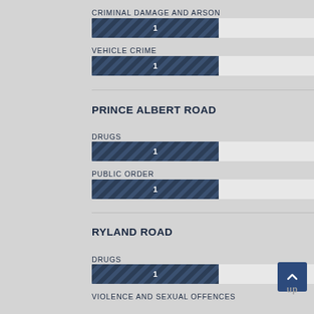CRIMINAL DAMAGE AND ARSON
[Figure (bar-chart): ]
VEHICLE CRIME
[Figure (bar-chart): ]
PRINCE ALBERT ROAD
DRUGS
[Figure (bar-chart): ]
PUBLIC ORDER
[Figure (bar-chart): ]
RYLAND ROAD
DRUGS
[Figure (bar-chart): ]
VIOLENCE AND SEXUAL OFFENCES